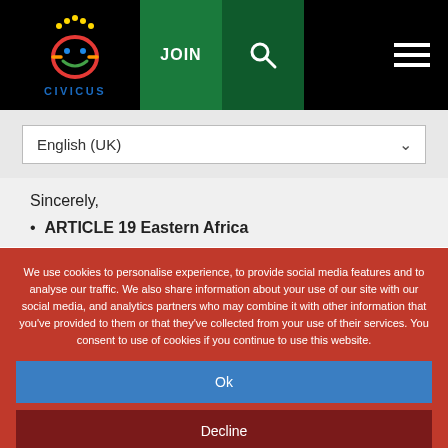CIVICUS | JOIN | Search | Menu
English (UK)
Sincerely,
ARTICLE 19 Eastern Africa
We use cookies to personalise experience, to provide social media features and to analyse our traffic. We also share information about your use of our site with our social media, and analytics partners who may combine it with other information that you've provided to them or that they've collected from your use of their services. You consent to use of cookies if you continue to use this website.
Ok
Decline
Settings